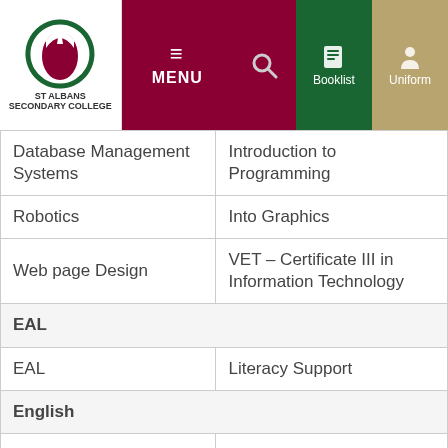[Figure (screenshot): St Albans Secondary College navigation bar with logo, MENU, search, Booklist, Uniform buttons]
| Database Management Systems | Introduction to Programming |
| Robotics | Into Graphics |
| Web page Design | VET - Certificate III in Information Technology |
| EAL |  |
| EAL | Literacy Support |
| English |  |
| Literature |  |